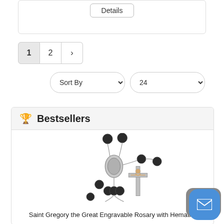[Figure (screenshot): Details button inside a card at the top of the page]
1  2  >
Sort By   24
🏆 Bestsellers
[Figure (photo): Saint Gregory the Great Engravable Rosary with Hematite beads product photo]
Saint Gregory the Great Engravable Rosary with Hematite